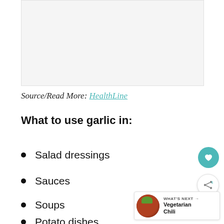[Figure (photo): Image placeholder area at top of page]
Source/Read More: HealthLine
What to use garlic in:
Salad dressings
Sauces
Soups
Potato dishes